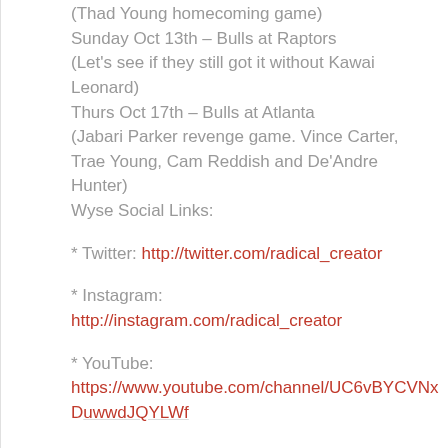(Thad Young homecoming game)
Sunday Oct 13th – Bulls at Raptors
(Let's see if they still got it without Kawai Leonard)
Thurs Oct 17th – Bulls at Atlanta
(Jabari Parker revenge game. Vince Carter, Trae Young, Cam Reddish and De'Andre Hunter)
Wyse Social Links:
* Twitter: http://twitter.com/radical_creator
* Instagram: http://instagram.com/radical_creator
* YouTube: https://www.youtube.com/channel/UC6vBYCVNxDuwwdJQYLWf...